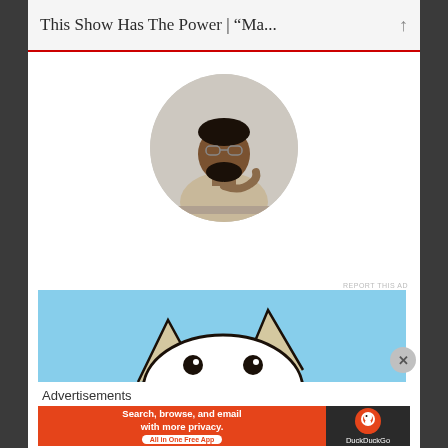This Show Has The Power | “Ma...”
[Figure (photo): Circular profile photo of a Black man with glasses and beard, wearing a beige t-shirt, sitting at a desk looking upward thoughtfully with his hand on his chin]
REPORT THIS AD
[Figure (photo): Advertisement banner showing a cartoon dog (DuckDuckGo mascot) peeking up from the bottom against a blue sky background]
Advertisements
[Figure (screenshot): DuckDuckGo advertisement banner with orange background. Text: Search, browse, and email with more privacy. All in One Free App. DuckDuckGo logo on dark right panel.]